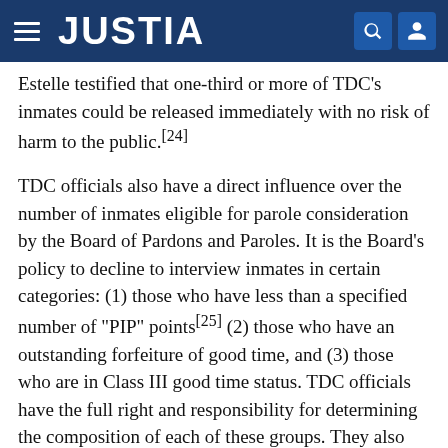JUSTIA
Estelle testified that one-third or more of TDC's inmates could be released immediately with no risk of harm to the public.[24]
TDC officials also have a direct influence over the number of inmates eligible for parole consideration by the Board of Pardons and Paroles. It is the Board's policy to decline to interview inmates in certain categories: (1) those who have less than a specified number of "PIP" points[25] (2) those who have an outstanding forfeiture of good time, and (3) those who are in Class III good time status. TDC officials have the full right and responsibility for determining the composition of each of these groups. They also prepare "institutional adjustment" reports, which the Parole Board relies upon. Thus, although TDC officials do not make actual parole decisions, they make many judgments which affect inmates' chances for parole. A